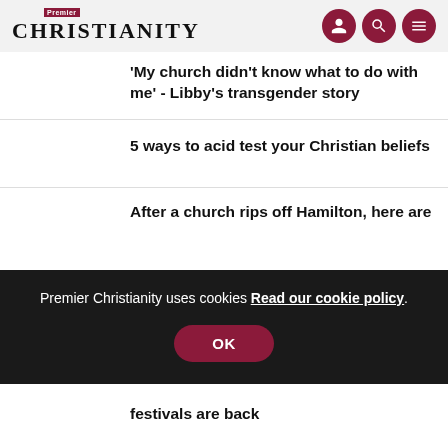Premier Christianity
'My church didn't know what to do with me' - Libby's transgender story
5 ways to acid test your Christian beliefs
After a church rips off Hamilton, here are festivals are back
Premier Christianity uses cookies Read our cookie policy.
OK